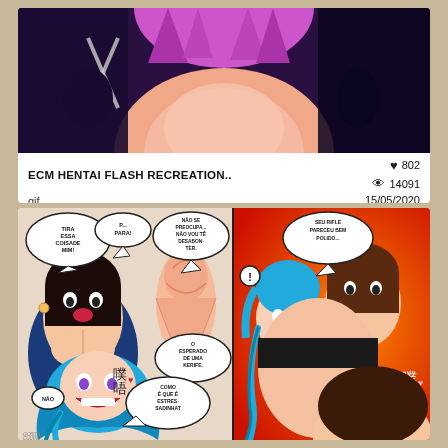[Figure (illustration): Cropped anime/hentai illustration showing characters with pink/purple hair against dark purple background]
ECM HENTAI FLASH RECREATION..
gif
♥ 802
👁 14091
15/05/2020
[Figure (illustration): Anime/manga comic page with multiple panels showing anime characters with blue hair and dark hair with speech bubbles in Portuguese and Japanese]